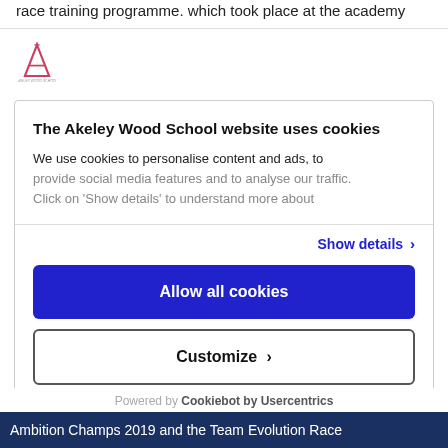race training programme. which took place at the academy
[Figure (logo): Akeley Wood School logo - stylized red/pink letter A with small text beneath]
The Akeley Wood School website uses cookies
We use cookies to personalise content and ads, to provide social media features and to analyse our traffic. Click on 'Show details' to understand more about
Show details ›
Allow all cookies
Customize ›
Powered by Cookiebot by Usercentrics
Ambition Champs 2019 and the Team Evolution Race